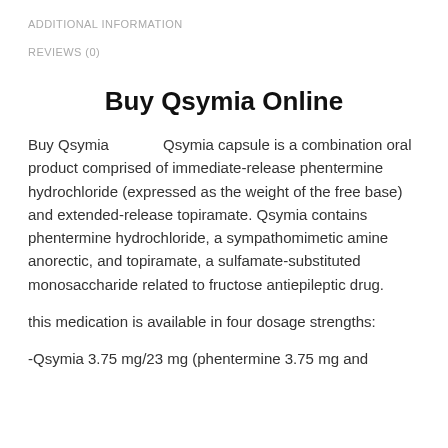ADDITIONAL INFORMATION
REVIEWS (0)
Buy Qsymia Online
Buy Qsymia        Qsymia capsule is a combination oral product comprised of immediate-release phentermine hydrochloride (expressed as the weight of the free base) and extended-release topiramate. Qsymia contains phentermine hydrochloride, a sympathomimetic amine anorectic, and topiramate, a sulfamate-substituted monosaccharide related to fructose antiepileptic drug.
this medication is available in four dosage strengths:
-Qsymia 3.75 mg/23 mg (phentermine 3.75 mg and